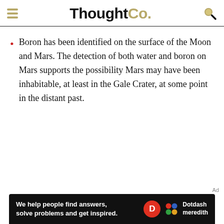ThoughtCo.
Boron has been identified on the surface of the Moon and Mars. The detection of both water and boron on Mars supports the possibility Mars may have been inhabitable, at least in the Gale Crater, at some point in the distant past.
[Figure (other): Dotdash Meredith advertisement banner: 'We help people find answers, solve problems and get inspired.' with Dotdash Meredith logo]